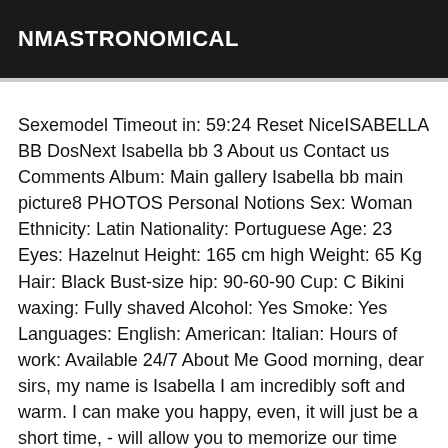NMASTRONOMICAL
Sexemodel Timeout in: 59:24 Reset NiceISABELLA BB DosNext Isabella bb 3 About us Contact us Comments Album: Main gallery Isabella bb main picture8 PHOTOS Personal Notions Sex: Woman Ethnicity: Latin Nationality: Portuguese Age: 23 Eyes: Hazelnut Height: 165 cm high Weight: 65 Kg Hair: Black Bust-size hip: 90-60-90 Cup: C Bikini waxing: Fully shaved Alcohol: Yes Smoke: Yes Languages: English: American: Italian: Hours of work: Available 24/7 About Me Good morning, dear sirs, my name is Isabella I am incredibly soft and warm. I can make you happy, even, it will just be a short time, - will allow you to memorize our time together and this memeory will make you feel good. happy again :)). I am very open-minded, I love new experiences and to share my experience with you. I have the pleasure to give pleasure and receive your share, of course. There are so many variations of the things I like to do-you'll be